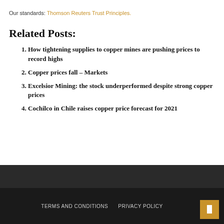Our standards: Thomson Reuters Trust Principles.
Related Posts:
How tightening supplies to copper mines are pushing prices to record highs
Copper prices fall – Markets
Excelsior Mining: the stock underperformed despite strong copper prices
Cochilco in Chile raises copper price forecast for 2021
TERMS AND CONDITIONS   PRIVACY POLICY